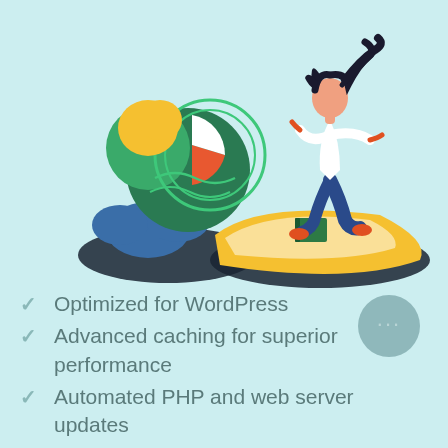[Figure (illustration): Two illustrated scenes on a light teal background: left side shows abstract cloud/pie chart icons with dark cloud shadow; right side shows a person surfing/running on a large yellow surfboard shape with a green book, dark hair flowing, wearing white top and blue pants, with dark cloud shadow below.]
Optimized for WordPress
Advanced caching for superior performance
Automated PHP and web server updates
Container technology